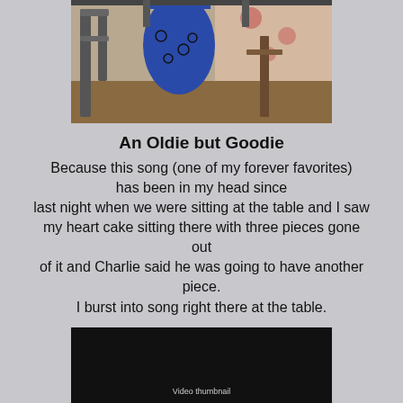[Figure (photo): Person in blue patterned clothing standing near furniture and floral wallpaper]
An Oldie but Goodie
Because this song (one of my forever favorites) has been in my head since last night when we were sitting at the table and I saw my heart cake sitting there with three pieces gone out of it and Charlie said he was going to have another piece. I burst into song right there at the table.
[Figure (screenshot): Dark video thumbnail with partial caption text visible at bottom]